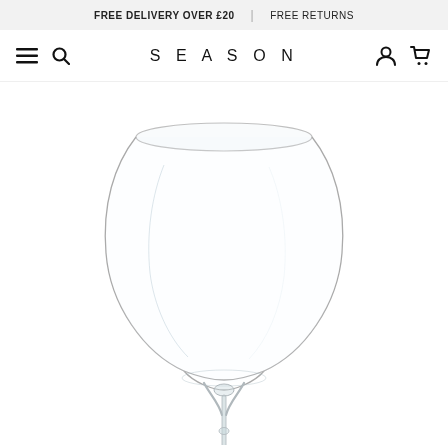FREE DELIVERY OVER £20 | FREE RETURNS
SEASON
[Figure (photo): A clear crystal Burgundy wine glass with a large round bowl, thin stem and flat base, photographed on a white background. Only the top portion with bowl and upper stem is visible.]